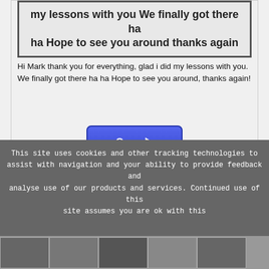[Figure (screenshot): Screenshot of a message reading: my lessons with you we finally got there ha ha Hope to see you around thanks again]
Hi Mark thank you for everything, glad i did my lessons with you. We finally got there ha ha Hope to see you around, thanks again!
[Figure (other): Blue Open button with play arrow icon]
This site uses cookies and other tracking technologies to assist with navigation and your ability to provide feedback and analyse use of our products and services. Continued use of this site assumes you are ok with this
[Figure (other): Green I accept button]
[Figure (photo): Row of thumbnail photos at bottom of page]